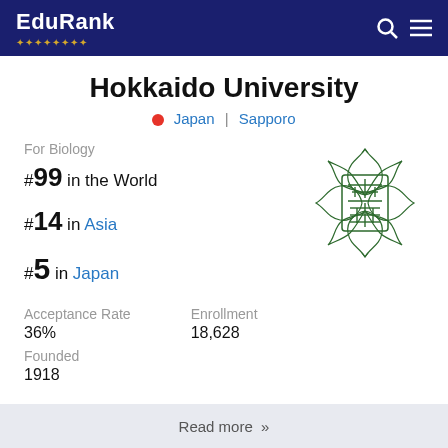EduRank
Hokkaido University
Japan | Sapporo
For Biology
#99 in the World
#14 in Asia
#5 in Japan
[Figure (logo): Hokkaido University green emblem/crest with stylized Japanese characters inside a decorative border]
Acceptance Rate
36%
Enrollment
18,628
Founded
1918
Read more »